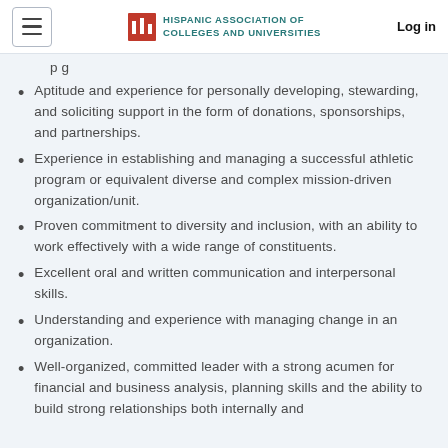HISPANIC ASSOCIATION OF COLLEGES AND UNIVERSITIES | Log in
p g
Aptitude and experience for personally developing, stewarding, and soliciting support in the form of donations, sponsorships, and partnerships.
Experience in establishing and managing a successful athletic program or equivalent diverse and complex mission-driven organization/unit.
Proven commitment to diversity and inclusion, with an ability to work effectively with a wide range of constituents.
Excellent oral and written communication and interpersonal skills.
Understanding and experience with managing change in an organization.
Well-organized, committed leader with a strong acumen for financial and business analysis, planning skills and the ability to build strong relationships both internally and